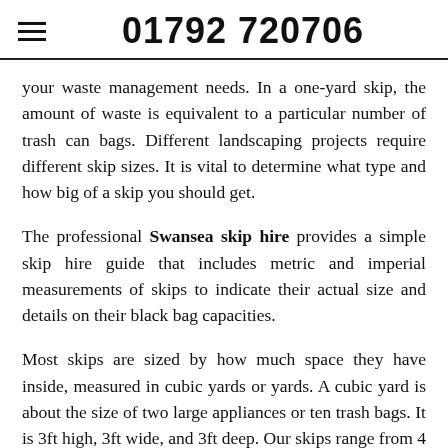01792 720706
your waste management needs. In a one-yard skip, the amount of waste is equivalent to a particular number of trash can bags. Different landscaping projects require different skip sizes. It is vital to determine what type and how big of a skip you should get.
The professional Swansea skip hire provides a simple skip hire guide that includes metric and imperial measurements of skips to indicate their actual size and details on their black bag capacities.
Most skips are sized by how much space they have inside, measured in cubic yards or yards. A cubic yard is about the size of two large appliances or ten trash bags. It is 3ft high, 3ft wide, and 3ft deep. Our skips range from 4 to 8 cubic yards, usually enough